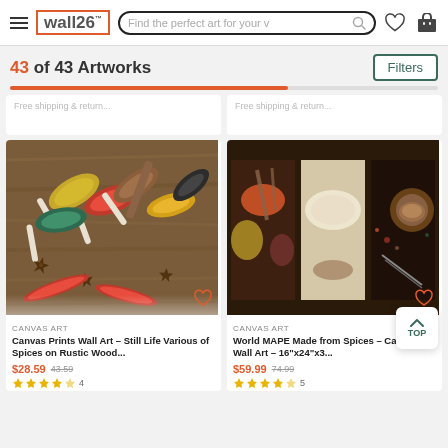wall26 — Find the perfect art for your v [search] [heart] [cart]
43 of 43 Artworks
Filters
Free shipping & return...
Free shipping & return...
[Figure (photo): Canvas print showing various spices in white ceramic spoons on rustic wood background with chili peppers and star anise]
CANVAS ART
Canvas Prints Wall Art – Still Life Various of Spices on Rustic Wood...
$28.59  43.59
★★★★★ 4
[Figure (photo): Three-panel canvas art showing a world map made from various colorful spices]
CANVAS ART
World MAPE Made from Spices – Canvas Art Wall Art – 16"x24"x3...
$59.99  74.99
★★★★★ 5